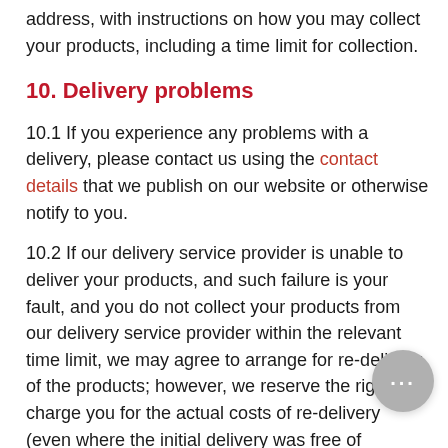address, with instructions on how you may collect your products, including a time limit for collection.
10. Delivery problems
10.1 If you experience any problems with a delivery, please contact us using the contact details that we publish on our website or otherwise notify to you.
10.2 If our delivery service provider is unable to deliver your products, and such failure is your fault, and you do not collect your products from our delivery service provider within the relevant time limit, we may agree to arrange for re-delivery of the products; however, we reserve the right to charge you for the actual costs of re-delivery (even where the initial delivery was free of charge).
10.3 An indicative list of the situations where a failure to deliver will be your fault is set out below: